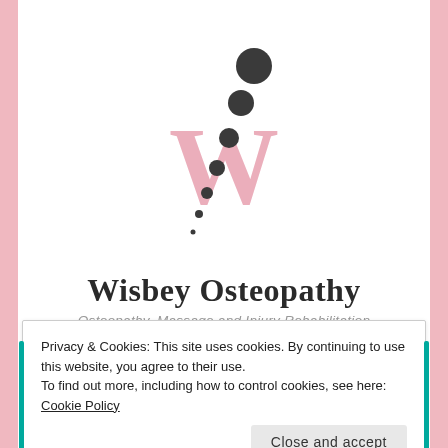[Figure (logo): Wisbey Osteopathy logo: pink letter W with dark grey decorative circles arranged diagonally above and through the W]
Wisbey Osteopathy
- Osteopathy, Massage and Injury Rehabilitation -
[Figure (other): Four teal circular social media icons: Facebook, LinkedIn, Twitter, Instagram]
Privacy & Cookies: This site uses cookies. By continuing to use this website, you agree to their use.
To find out more, including how to control cookies, see here: Cookie Policy
Close and accept